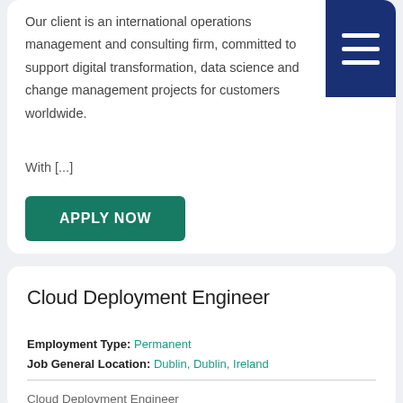Our client is an international operations management and consulting firm, committed to support digital transformation, data science and change management projects for customers worldwide.
With [...]
APPLY NOW
Cloud Deployment Engineer
Employment Type: Permanent
Job General Location: Dublin, Dublin, Ireland
Cloud Deployment Engineer